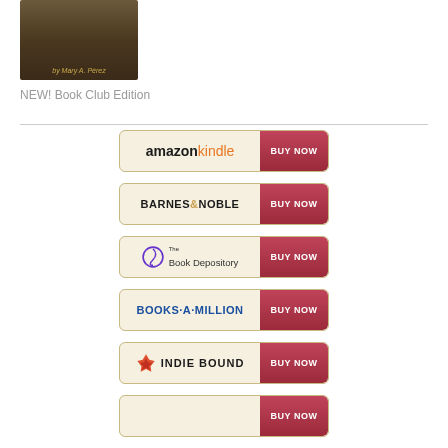[Figure (photo): Book cover image by Mary A. Pérez]
NEW! Book Club Edition
[Figure (other): Amazon Kindle BUY NOW button]
[Figure (other): Barnes & Noble BUY NOW button]
[Figure (other): Book Depository BUY NOW button]
[Figure (other): Books-A-Million BUY NOW button]
[Figure (other): Indie Bound BUY NOW button]
[Figure (other): Partially visible retailer BUY NOW button]